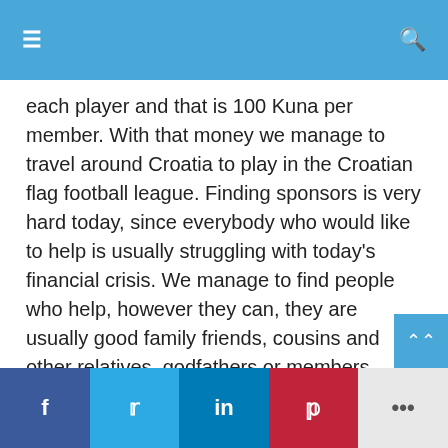≡   [search icon]
each player and that is 100 Kuna per member. With that money we manage to travel around Croatia to play in the Croatian flag football league. Finding sponsors is very hard today, since everybody who would like to help is usually struggling with today's financial crisis. We manage to find people who help, however they can, they are usually good family friends, cousins and other relatives, godfathers or members parents. To get some help from Dubrovnik's government, I guess we will need some time to prove ourselves and show them that we are a good image for the city and that we work hard to accomplish our goals. Some of other clubs in the country and in the Balkan region have managed to connect themselves with American and English clubs and colleges who help them in sending used gear and coaches to help their development, so maybe something can happen for us along those lines. Needless to say, we try every day to show people what we do, mostly through
f  t  in  p  ...